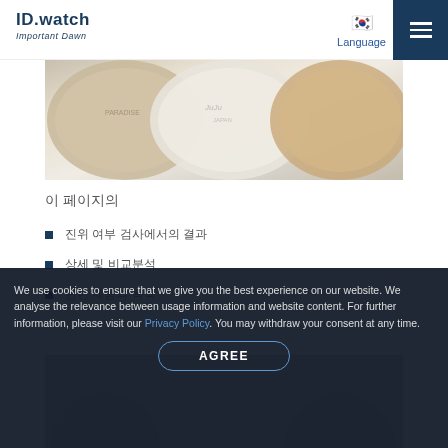ID.watch Important Dawn
[Figure (photo): Close-up photo of watch case backs showing engraved text, three overlapping circular watch backs in gold/silver tones]
이 페이지의
진위 여부 검사에서의 결과
상세 및 비교분석
관련 제품의 목록
[Figure (photo): Partial bottom section showing dark background with partial image]
We use cookies to ensure that we give you the best experience on our website. We analyse the relevance between usage information and website content. For further information, please visit our Privacy Policy. You may withdraw your consent at any time.
AGREE